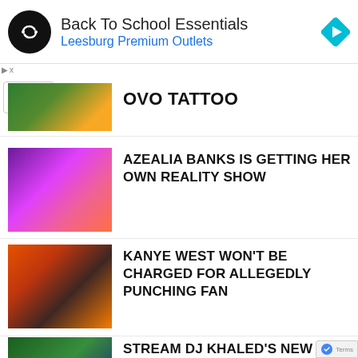[Figure (screenshot): Ad banner: Back To School Essentials - Leesburg Premium Outlets with circular logo and navigation icon]
OVO TATTOO
AZEALIA BANKS IS GETTING HER OWN REALITY SHOW
KANYE WEST WON'T BE CHARGED FOR ALLEGEDLY PUNCHING FAN
STREAM DJ KHALED'S NEW ALBUM 'GOD DID' FEATURING JAY-Z, KANYE WEST, EMINEM, & DRAKE